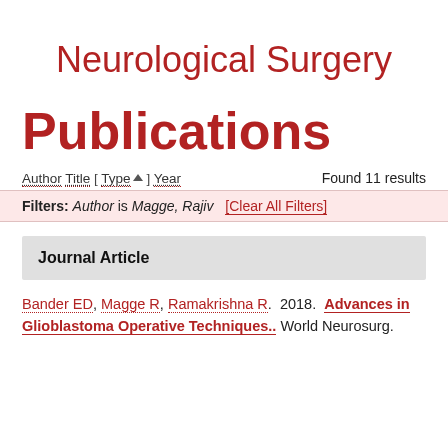Neurological Surgery
Publications
Author Title [ Type ] Year   Found 11 results
Filters: Author is Magge, Rajiv [Clear All Filters]
Journal Article
Bander ED, Magge R, Ramakrishna R. 2018. Advances in Glioblastoma Operative Techniques.. World Neurosurg.